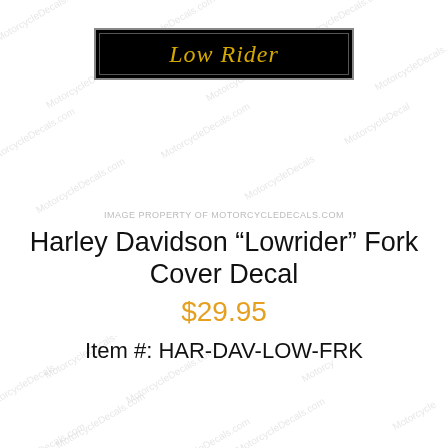[Figure (illustration): Black rectangular decal with gold script text reading 'Low Rider', bordered by thin lines]
IMAGE PROPERTY OF MOTORCYCLEDECALS.COM
Harley Davidson “Lowrider” Fork Cover Decal
$29.95
Item #: HAR-DAV-LOW-FRK